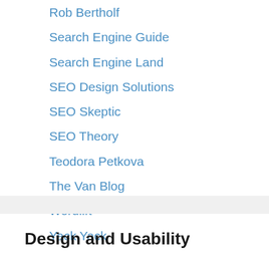Rob Bertholf
Search Engine Guide
Search Engine Land
SEO Design Solutions
SEO Skeptic
SEO Theory
Teodora Petkova
The Van Blog
Wordlift
Yack Yack
Design and Usability